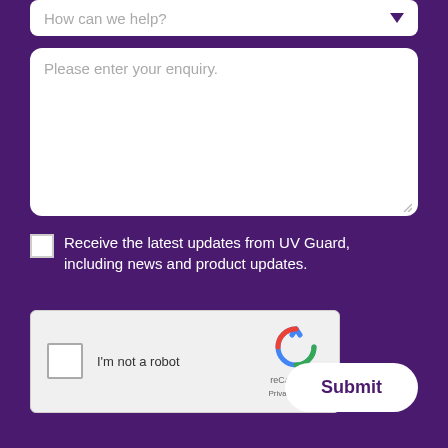How can we help?
Please enter your enquiry.
Receive the latest updates from UV Guard, including news and product updates.
[Figure (screenshot): reCAPTCHA widget with checkbox labeled I'm not a robot, Google reCAPTCHA logo, Privacy and Terms links]
Submit